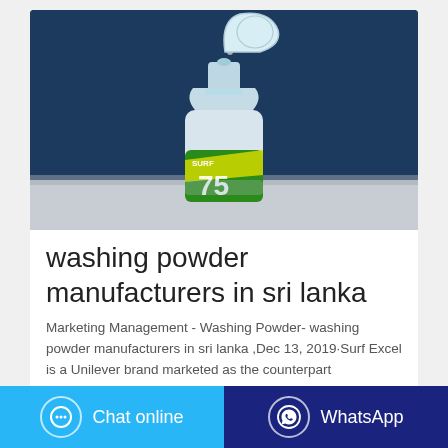[Figure (photo): A clear plastic bottle with a flip-top cap open, showing a green and yellow label with '75' visible, photographed against a dark navy blue background on a light surface.]
washing powder manufacturers in sri lanka
Marketing Management - Washing Powder- washing powder manufacturers in sri lanka ,Dec 13, 2019·Surf Excel is a Unilever brand marketed as the counterpart
Chat online
WhatsApp